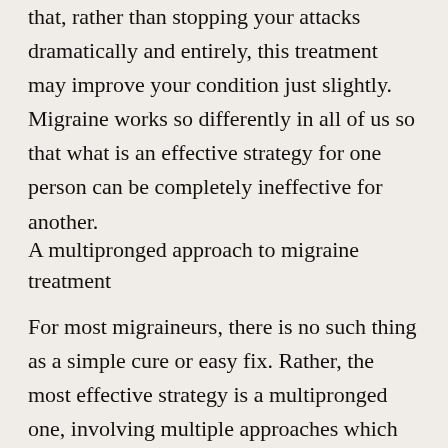that, rather than stopping your attacks dramatically and entirely, this treatment may improve your condition just slightly. Migraine works so differently in all of us so that what is an effective strategy for one person can be completely ineffective for another.
A multipronged approach to migraine treatment
For most migraineurs, there is no such thing as a simple cure or easy fix. Rather, the most effective strategy is a multipronged one, involving multiple approaches which include various medications and countless life alterations (diet, sleep, and exercise) that, coupled together with time, effort, energy, and